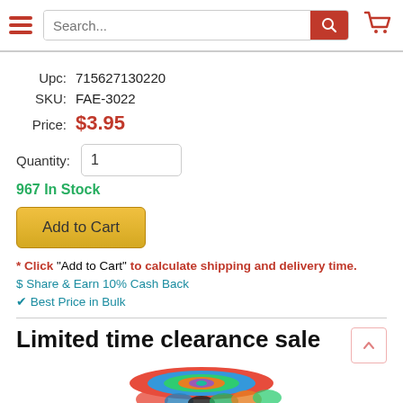Search bar with hamburger menu and cart icon
Upc: 715627130220
SKU: FAE-3022
Price: $3.95
Quantity: 1
967 In Stock
Add to Cart
* Click "Add to Cart" to calculate shipping and delivery time.
$ Share & Earn 10% Cash Back
Best Price in Bulk
Limited time clearance sale
[Figure (photo): Product photo showing rolls of colored tape/vinyl]